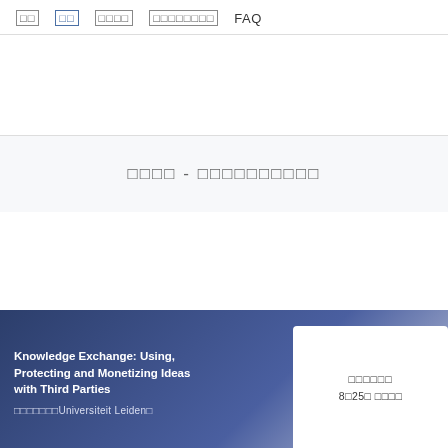□□  □□  □□□□  □□□□□□□□  FAQ
□□□□ - □□□□□□□□□□
Knowledge Exchange: Using, Protecting and Monetizing Ideas with Third Parties
□□□□□□□Universiteit Leiden□
□□□□□□
8□25□ □□□□